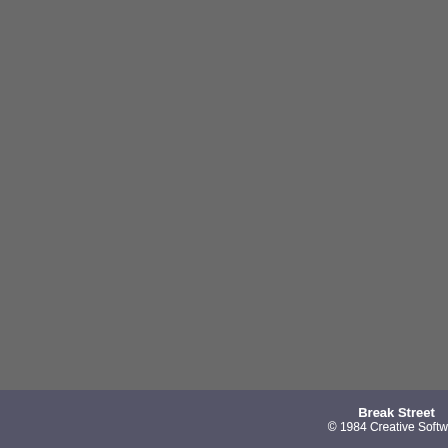[Figure (screenshot): Gray screenshot/image area for the game Break Street at top of left panel]
Break Street
© 1984 Creative Software
« play/stop »
| Programming: | Michael Crick |
| Graphics: | Mark Madland |
| Graphics: | Steve Chin |
| Music: | Bob Landwehr |
| Music: | Scott Emmons |
| Action: | The D-Roxy Crew |
| Genre: | Sports |
| Rating: | Rate |
| Download: | Game |
| Download: | Break_Street.sid |
Direct link: www.c64.com/games/1954.
GB
Act
558
Dow
Hes
Hes
372
Dow
Pow
Ele
516
Dow
First page